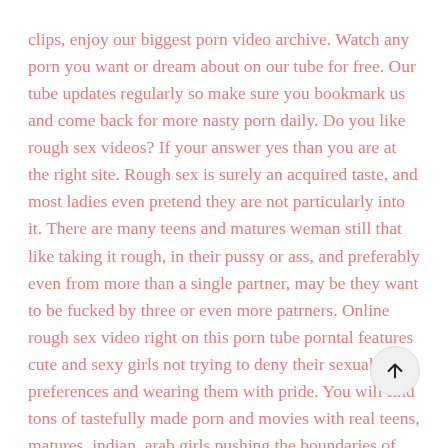clips, enjoy our biggest porn video archive. Watch any porn you want or dream about on our tube for free. Our tube updates regularly so make sure you bookmark us and come back for more nasty porn daily. Do you like rough sex videos? If your answer yes than you are at the right site. Rough sex is surely an acquired taste, and most ladies even pretend they are not particularly into it. There are many teens and matures weman still that like taking it rough, in their pussy or ass, and preferably even from more than a single partner, may be they want to be fucked by three or even more patrners. Online rough sex video right on this porn tube porntal features cute and sexy girls not trying to deny their sexual preferences and wearing them with pride. You will find tons of tastefully made porn and movies with real teens, matures, indian, arab girls pushing the boundaries of normal socially acceptable behavior. They want many cocks to try all their holes properly banged before orgasming themselves.